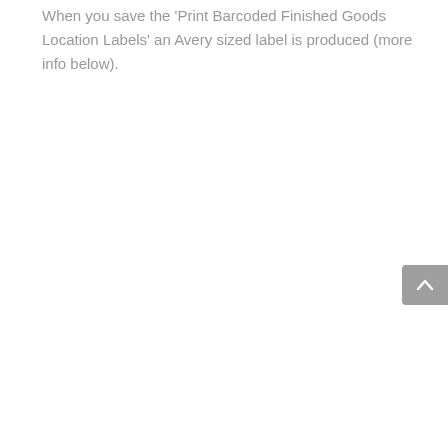When you save the 'Print Barcoded Finished Goods Location Labels' an Avery sized label is produced (more info below).
[Figure (other): A grey rounded button with an upward-pointing chevron arrow, positioned at the right edge of the page, used as a scroll-to-top control.]